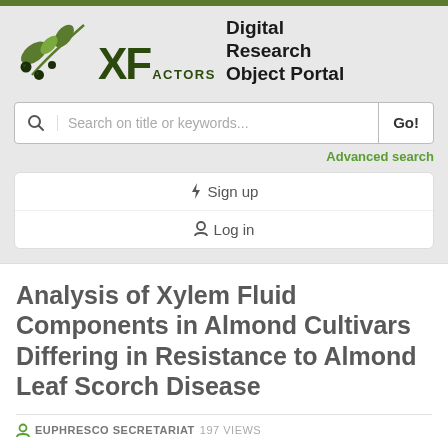[Figure (logo): XF Actors Digital Research Object Portal logo with olive branch graphic]
Search on title or keywords...
Advanced search
Sign up
Log in
Analysis of Xylem Fluid Components in Almond Cultivars Differing in Resistance to Almond Leaf Scorch Disease
EUPHRESCO SECRETARIAT 197 VIEWS